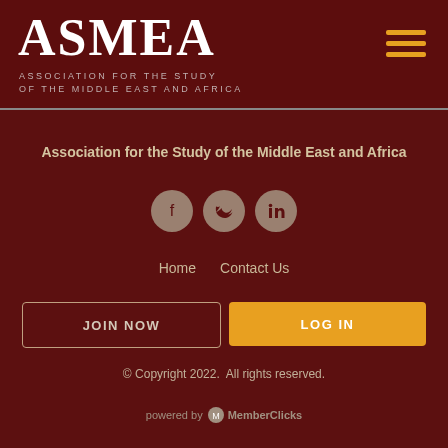ASMEA — Association for the Study of the Middle East and Africa
Association for the Study of the Middle East and Africa
[Figure (other): Three social media icons: Facebook, Twitter, LinkedIn]
Home   Contact Us
JOIN NOW
LOG IN
© Copyright 2022.  All rights reserved.
powered by MemberClicks